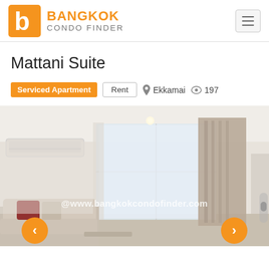Bangkok Condo Finder
Mattani Suite
Serviced Apartment | Rent | Ekkamai | 197 views
[Figure (photo): Interior photo of a furnished apartment living room with white walls, air conditioning unit, large windows with beige/taupe curtains, and a beige sofa with red accent pillows. Watermark reads @www.bangkokcondofinder.com]